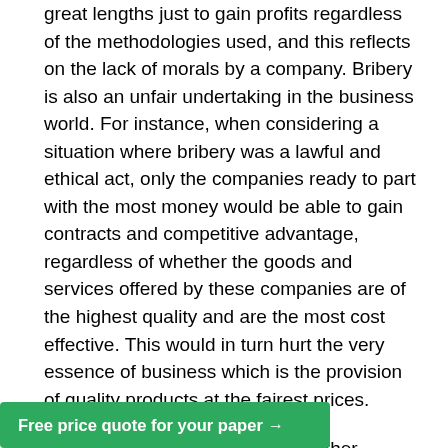great lengths just to gain profits regardless of the methodologies used, and this reflects on the lack of morals by a company. Bribery is also an unfair undertaking in the business world. For instance, when considering a situation where bribery was a lawful and ethical act, only the companies ready to part with the most money would be able to gain contracts and competitive advantage, regardless of whether the goods and services offered by these companies are of the highest quality and are the most cost effective. This would in turn hurt the very essence of business which is the provision of quality products at the fairest prices.
According to Henn, Ethics have other implications apart from the fact that they keep a business from breaking laws. Henn outlines that research has already established that businesses that have formulated and adhere to effective ethics have the capacity to perform better than s. (14). Therefore, if
Free price quote for your paper →